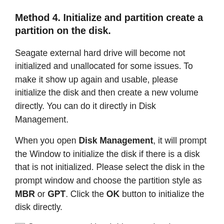Method 4. Initialize and partition create a partition on the disk.
Seagate external hard drive will become not initialized and unallocated for some issues. To make it show up again and usable, please initialize the disk and then create a new volume directly. You can do it directly in Disk Management.
When you open Disk Management, it will prompt the Window to initialize the disk if there is a disk that is not initialized. Please select the disk in the prompt window and choose the partition style as MBR or GPT. Click the OK button to initialize the disk directly.
[Figure (photo): Seagate external hard drive not showing up — image placeholder with broken image icon]